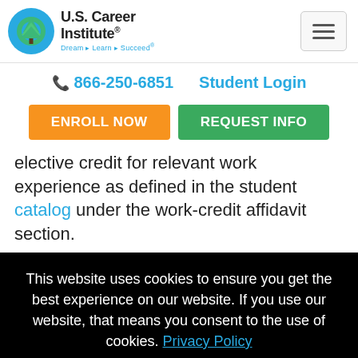[Figure (logo): U.S. Career Institute logo with tree graphic and tagline Dream Learn Succeed]
866-250-6851    Student Login
ENROLL NOW    REQUEST INFO
elective credit for relevant work experience as defined in the student catalog under the work-credit affidavit section.
This website uses cookies to ensure you get the best experience on our website. If you use our website, that means you consent to the use of cookies. Privacy Policy
I accept